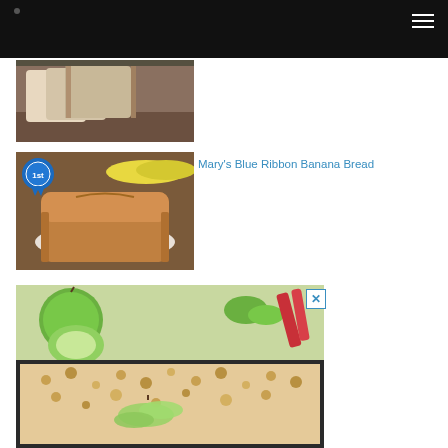[Figure (photo): Sliced white bread on a wooden surface]
[Figure (photo): Banana bread loaf on a plate with bananas in background and a blue ribbon award badge overlay]
Mary's Blue Ribbon Banana Bread
[Figure (photo): Apple crumble sheet pan with green apples and apple slices on top, with glazed crumble topping]